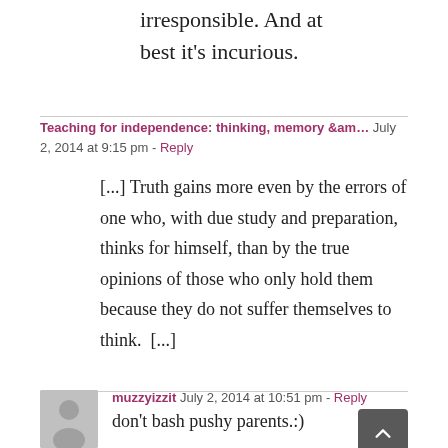irresponsible. And at best it's incurious.
Teaching for independence: thinking, memory &am...  July 2, 2014 at 9:15 pm - Reply
[...] Truth gains more even by the errors of one who, with due study and preparation, thinks for himself, than by the true opinions of those who only hold them because they do not suffer themselves to think.  [...]
muzzyizzit  July 2, 2014 at 10:51 pm - Reply
don't bash pushy parents.:)